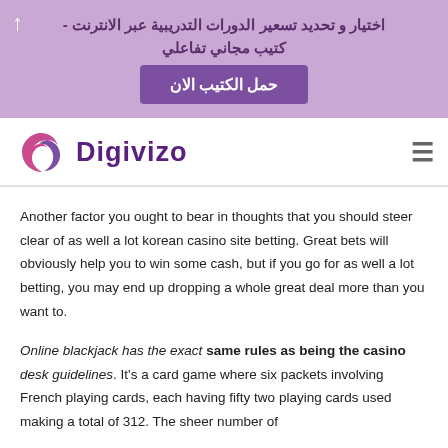اختيار و تحديد تسعير الدورات التدريبية عبر الانترنت - كتيب مجاني تفاعلي
حمل الكتيب الان
[Figure (logo): Digivizo logo with swirl icon in pink/purple and text 'Digivizo' in dark purple]
Another factor you ought to bear in thoughts that you should steer clear of as well a lot korean casino site betting. Great bets will obviously help you to win some cash, but if you go for as well a lot betting, you may end up dropping a whole great deal more than you want to.
Online blackjack has the exact same rules as being the casino desk guidelines. It's a card game where six packets involving French playing cards, each having fifty two playing cards used making a total of 312. The sheer number of